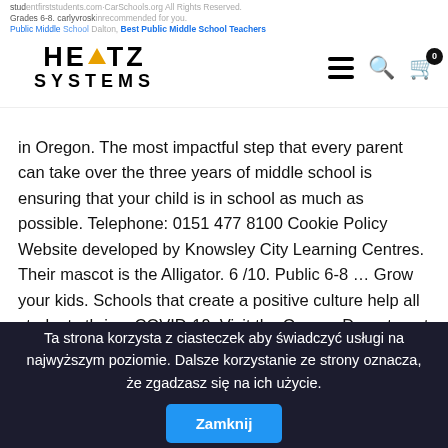HERTZ SYSTEMS logo with navigation icons (hamburger menu, search, cart)
in Oregon. The most impactful step that every parent can take over the three years of middle school is ensuring that your child is in school as much as possible. Telephone: 0151 477 8100 Cookie Policy Website developed by Knowsley City Learning Centres. Their mascot is the Alligator. 6 /10. Public 6-8 … Grow your kids. Schools that create a positive culture help all students thrive. COVID-19: Visit the Oregon Department of Education COVID-19 resource page for information relevant to Oregon schools. Please note: While we encourage comments and sharing, posts containing personal attacks or profanity will be removed. Aloha; Beaverton; Mountainside; Southridge; Sunset; Westview; Option Schools/Programs. The percentage of Meadow Park Middle School students on free and reduced lunch assistance (39.5%) is lower than the state average of
Ta strona korzysta z ciasteczek aby świadczyć usługi na najwyższym poziomie. Dalsze korzystanie ze strony oznacza, że zgadzasz się na ich użycie. Zamknij